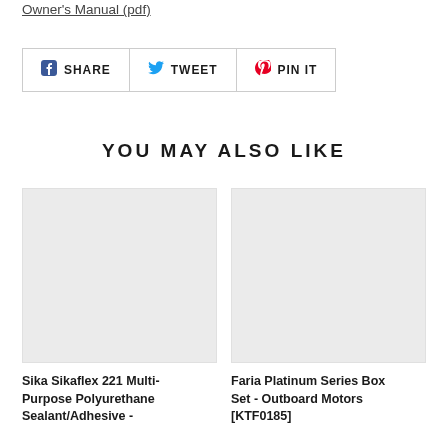Owner's Manual (pdf)
SHARE TWEET PIN IT
YOU MAY ALSO LIKE
[Figure (photo): Product image placeholder - Sika Sikaflex 221 Multi-Purpose Polyurethane Sealant/Adhesive]
Sika Sikaflex 221 Multi-Purpose Polyurethane Sealant/Adhesive -
[Figure (photo): Product image placeholder - Faria Platinum Series Box Set - Outboard Motors [KTF0185]]
Faria Platinum Series Box Set - Outboard Motors [KTF0185]